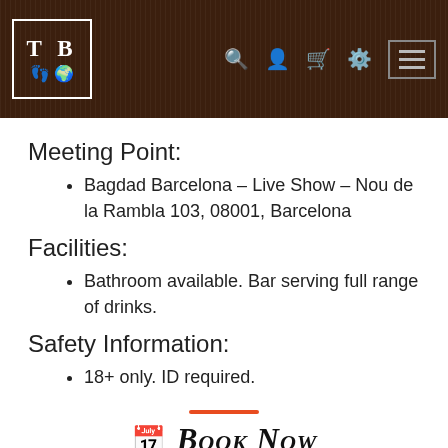TB logo header with navigation icons
Meeting Point:
Bagdad Barcelona – Live Show – Nou de la Rambla 103, 08001, Barcelona
Facilities:
Bathroom available. Bar serving full range of drinks.
Safety Information:
18+ only. ID required.
Book Now
From 75 € — 1 hour